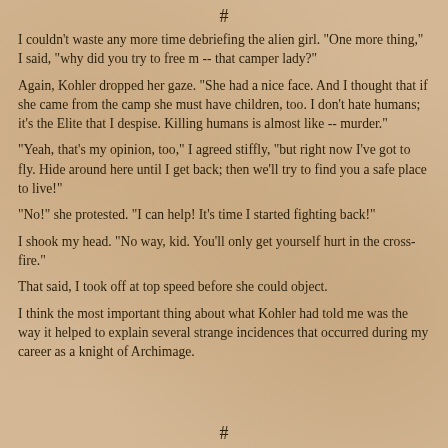#
I couldn't waste any more time debriefing the alien girl. "One more thing," I said, "why did you try to free m -- that camper lady?"
Again, Kohler dropped her gaze. "She had a nice face. And I thought that if she came from the camp she must have children, too. I don't hate humans; it's the Elite that I despise. Killing humans is almost like -- murder."
"Yeah, that's my opinion, too," I agreed stiffly, "but right now I've got to fly. Hide around here until I get back; then we'll try to find you a safe place to live!"
"No!" she protested. "I can help! It's time I started fighting back!"
I shook my head. "No way, kid. You'll only get yourself hurt in the cross-fire."
That said, I took off at top speed before she could object.
I think the most important thing about what Kohler had told me was the way it helped to explain several strange incidences that occurred during my career as a knight of Archimage.
#